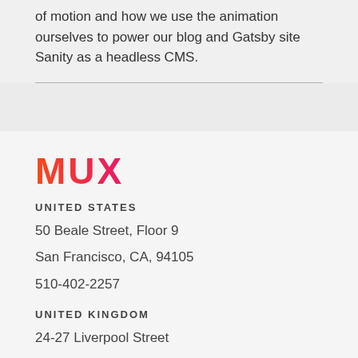of motion and how we use the animation ourselves to power our blog and Gatsby site Sanity as a headless CMS.
[Figure (logo): MUX logo in gradient orange-to-pink color]
UNITED STATES
50 Beale Street, Floor 9
San Francisco, CA, 94105
510-402-2257
UNITED KINGDOM
24-27 Liverpool Street